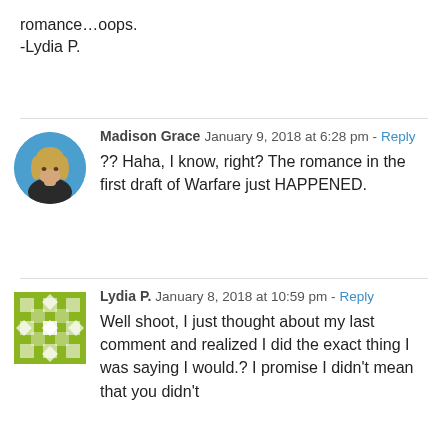romance...oops.
-Lydia P.
Madison Grace  January 9, 2018 at 6:28 pm · Reply
?? Haha, I know, right? The romance in the first draft of Warfare just HAPPENED.
Lydia P.  January 8, 2018 at 10:59 pm · Reply
Well shoot, I just thought about my last comment and realized I did the exact thing I was saying I would.? I promise I didn't mean that you didn't